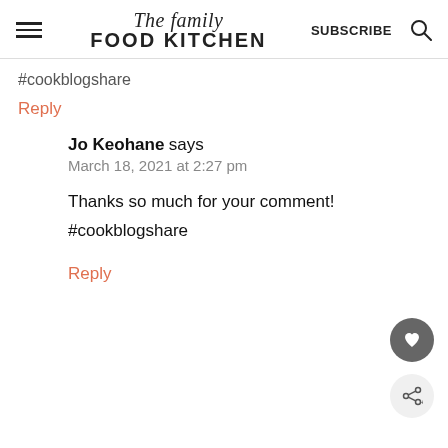The family FOOD KITCHEN — SUBSCRIBE
#cookblogshare
Reply
Jo Keohane says
March 18, 2021 at 2:27 pm
Thanks so much for your comment!
#cookblogshare
Reply